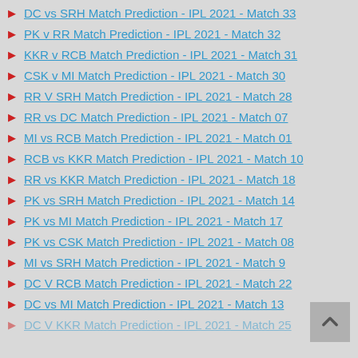DC vs SRH Match Prediction - IPL 2021 - Match 33
PK v RR Match Prediction - IPL 2021 - Match 32
KKR v RCB Match Prediction - IPL 2021 - Match 31
CSK v MI Match Prediction - IPL 2021 - Match 30
RR V SRH Match Prediction - IPL 2021 - Match 28
RR vs DC Match Prediction - IPL 2021 - Match 07
MI vs RCB Match Prediction - IPL 2021 - Match 01
RCB vs KKR Match Prediction - IPL 2021 - Match 10
RR vs KKR Match Prediction - IPL 2021 - Match 18
PK vs SRH Match Prediction - IPL 2021 - Match 14
PK vs MI Match Prediction - IPL 2021 - Match 17
PK vs CSK Match Prediction - IPL 2021 - Match 08
MI vs SRH Match Prediction - IPL 2021 - Match 9
DC V RCB Match Prediction - IPL 2021 - Match 22
DC vs MI Match Prediction - IPL 2021 - Match 13
DC V KKR Match Prediction - IPL 2021 - Match 25